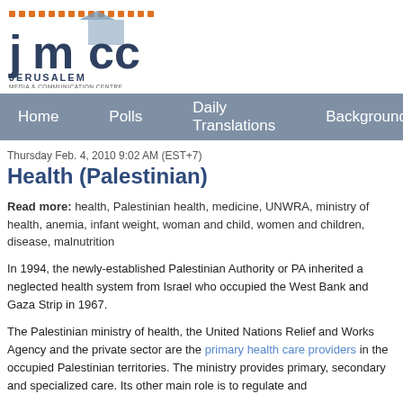[Figure (logo): JMCC Jerusalem Media & Communication Centre logo with orange dots and geometric shapes]
Home   Polls   Daily Translations   Background
Thursday Feb. 4, 2010 9:02 AM (EST+7)
Health (Palestinian)
Read more: health, Palestinian health, medicine, UNWRA, ministry of health, anemia, infant weight, woman and child, women and children, disease, malnutrition
In 1994, the newly-established Palestinian Authority or PA inherited a neglected health system from Israel who occupied the West Bank and Gaza Strip in 1967.
The Palestinian ministry of health, the United Nations Relief and Works Agency and the private sector are the primary health care providers in the occupied Palestinian territories. The ministry provides primary, secondary and specialized care. Its other main role is to regulate and
Before the outbreak of the second intifada in September 2000, health indicators